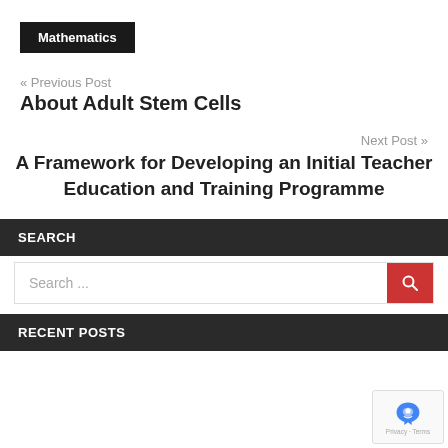Mathematics
« Previous Post
About Adult Stem Cells
Next Post »
A Framework for Developing an Initial Teacher Education and Training Programme
SEARCH
Search ...
RECENT POSTS